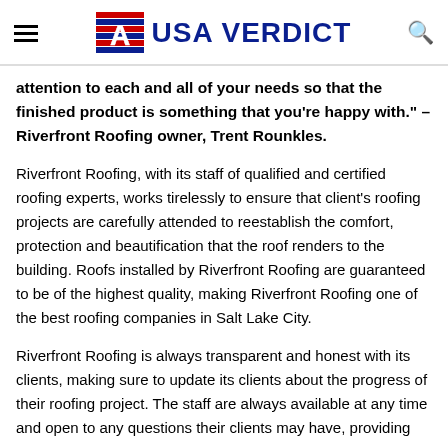USA VERDICT
attention to each and all of your needs so that the finished product is something that you're happy with." – Riverfront Roofing owner, Trent Rounkles.
Riverfront Roofing, with its staff of qualified and certified roofing experts, works tirelessly to ensure that client's roofing projects are carefully attended to reestablish the comfort, protection and beautification that the roof renders to the building. Roofs installed by Riverfront Roofing are guaranteed to be of the highest quality, making Riverfront Roofing one of the best roofing companies in Salt Lake City.
Riverfront Roofing is always transparent and honest with its clients, making sure to update its clients about the progress of their roofing project. The staff are always available at any time and open to any questions their clients may have, providing